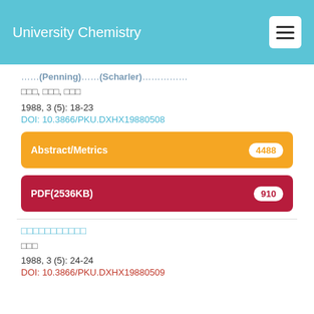University Chemistry
……(Penning)……(Scharler)……………
□□□, □□□, □□□
1988, 3 (5): 18-23
DOI: 10.3866/PKU.DXHX19880508
Abstract/Metrics 4488
PDF(2536KB) 910
□□□□□□□□□□□
□□□
1988, 3 (5): 24-24
DOI: 10.3866/PKU.DXHX19880509